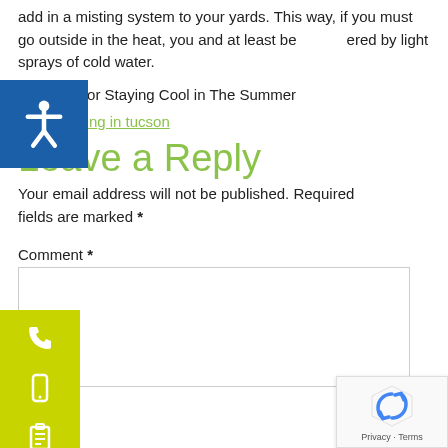add in a misting system to your yards. This way, if you must go outside in the heat, you and at least be covered by light sprays of cold water.
[Figure (illustration): Green image icon followed by text: Tips For Staying Cool in The Summer]
Tagged living in tucson
Leave a Reply
Your email address will not be published. Required fields are marked *
Comment *
[Figure (other): Comment text area input box]
[Figure (other): reCAPTCHA badge with Privacy and Terms links]